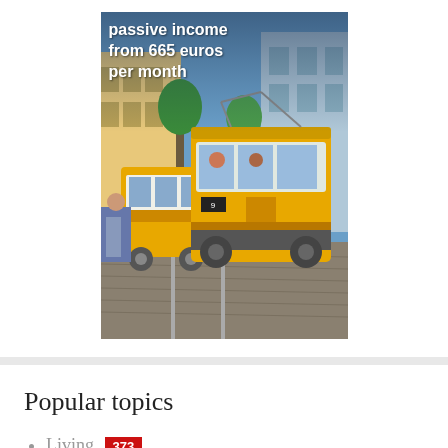[Figure (photo): Photo of Lisbon yellow trams on a cobblestone street with text overlay reading 'passive income from 665 euros per month']
Popular topics
Living 373
Immigration 347
Travel 177